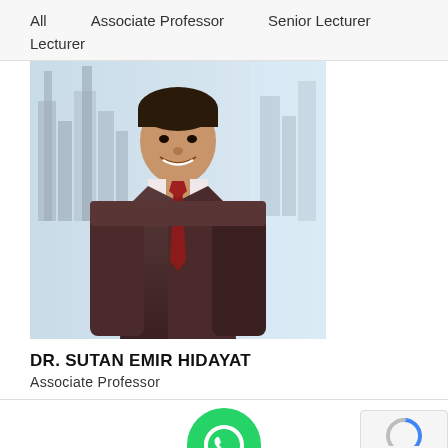All    Associate Professor    Senior Lecturer    Lecturer
[Figure (photo): Professional headshot of Dr. Sutan Emir Hidayat wearing a dark suit and red tie, with a city skyline background]
DR. SUTAN EMIR HIDAYAT
Associate Professor
[Figure (logo): WhatsApp green circle logo icon]
[Figure (logo): reCAPTCHA badge with Privacy and Terms links]